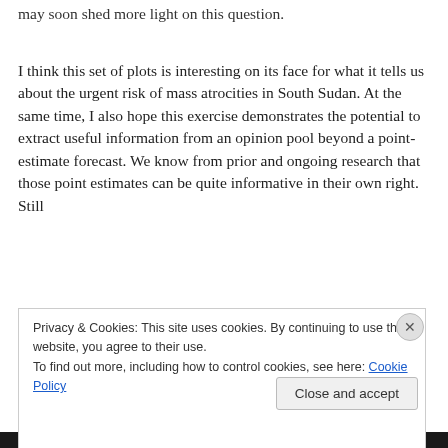may soon shed more light on this question.
I think this set of plots is interesting on its face for what it tells us about the urgent risk of mass atrocities in South Sudan. At the same time, I also hope this exercise demonstrates the potential to extract useful information from an opinion pool beyond a point-estimate forecast. We know from prior and ongoing research that those point estimates can be quite informative in their own right. Still
Privacy & Cookies: This site uses cookies. By continuing to use this website, you agree to their use.
To find out more, including how to control cookies, see here: Cookie Policy
Close and accept